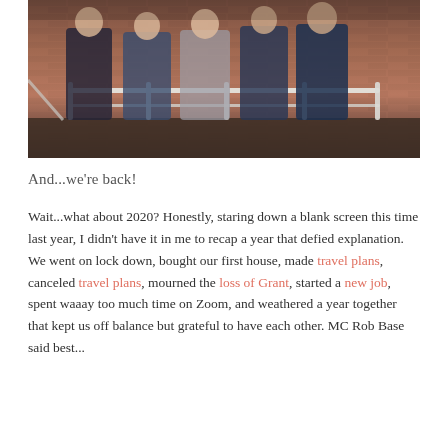[Figure (photo): Group photo of five people standing behind a white metal railing in front of a red brick wall]
And...we're back!
Wait...what about 2020? Honestly, staring down a blank screen this time last year, I didn't have it in me to recap a year that defied explanation. We went on lock down, bought our first house, made travel plans, canceled travel plans, mourned the loss of Grant, started a new job, spent waaay too much time on Zoom, and weathered a year together that kept us off balance but grateful to have each other. MC Rob Base said best...